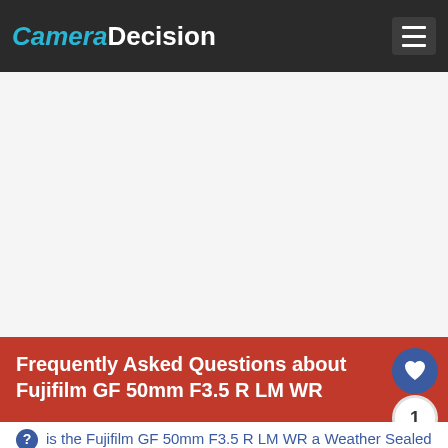CameraDecision
[Figure (other): Advertisement area (blank/white space)]
Frequently Asked Questions about Fujifilm GF 50mm F3.5 R LM WR
is the Fujifilm GF 50mm F3.5 R LM WR a Weather Sealed lens?